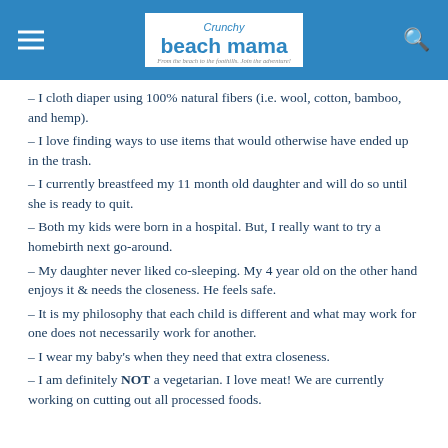Crunchy Beach Mama — From the beach to the foothills. Join the adventure!
– I cloth diaper using 100% natural fibers (i.e. wool, cotton, bamboo, and hemp).
– I love finding ways to use items that would otherwise have ended up in the trash.
– I currently breastfeed my 11 month old daughter and will do so until she is ready to quit.
– Both my kids were born in a hospital. But, I really want to try a homebirth next go-around.
– My daughter never liked co-sleeping. My 4 year old on the other hand enjoys it & needs the closeness. He feels safe.
– It is my philosophy that each child is different and what may work for one does not necessarily work for another.
– I wear my baby's when they need that extra closeness.
– I am definitely NOT a vegetarian. I love meat! We are currently working on cutting out all processed foods.